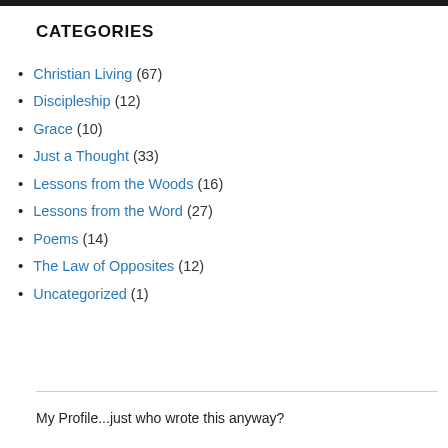CATEGORIES
Christian Living (67)
Discipleship (12)
Grace (10)
Just a Thought (33)
Lessons from the Woods (16)
Lessons from the Word (27)
Poems (14)
The Law of Opposites (12)
Uncategorized (1)
My Profile...just who wrote this anyway?